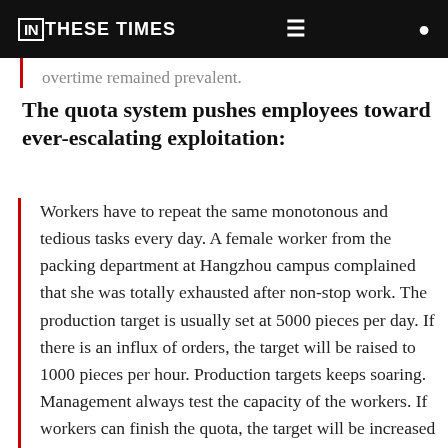IN THESE TIMES
overtime remained prevalent.
The quota system pushes employees toward ever-escalating exploitation:
Workers have to repeat the same monotonous and tedious tasks every day. A female worker from the packing department at Hangzhou campus complained that she was totally exhausted after non-stop work. The production target is usually set at 5000 pieces per day. If there is an influx of orders, the target will be raised to 1000 pieces per hour. Production targets keeps soaring. Management always test the capacity of the workers. If workers can finish the quota, the target will be increased day by day until the capacity of the workers maximize.